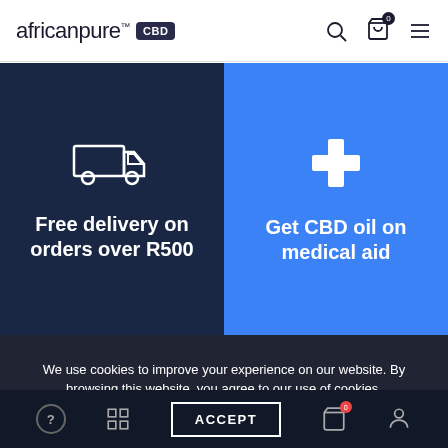africanpure™ CBD
[Figure (infographic): Delivery truck icon on dark navy background with text: Free delivery on orders over R500]
[Figure (infographic): Medical cross icon on blue background with text: Get CBD oil on medical aid]
We use cookies to improve your experience on our website. By browsing this website, you agree to our use of cookies.
ACCEPT